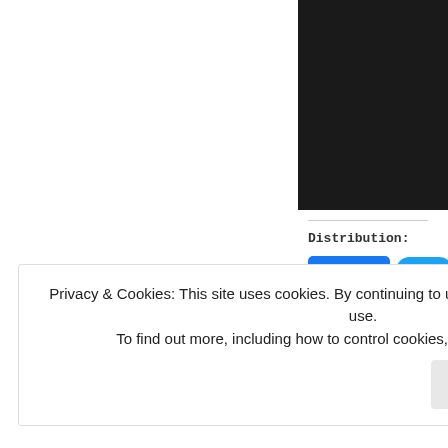[Figure (photo): Dark/black image panel in upper right area of page]
Distribution:
[Figure (other): Facebook Share button showing 'Share 0' and Twitter/Tweet button (partially visible)]
Loading...
Privacy & Cookies: This site uses cookies. By continuing to use this website, you agree to their use.
To find out more, including how to control cookies, see here: Cookie Policy
Close and accept